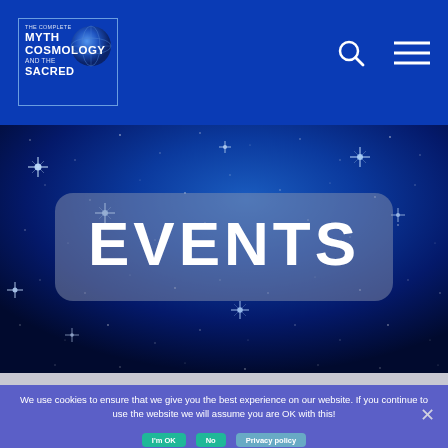[Figure (logo): The Complete Myth Cosmology and Sacred logo — text in white on blue background with a circular globe graphic]
[Figure (illustration): Dark blue starfield hero image with multiple glowing/cross-shaped stars on a deep blue gradient background]
EVENTS
We use cookies to ensure that we give you the best experience on our website. If you continue to use the website we will assume you are OK with this!
I'm OK   No   Privacy policy